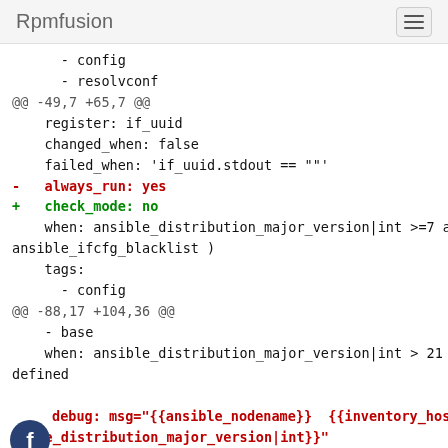Rpmfusion
- config
    - resolvconf
@@ -49,7 +65,7 @@
    register: if_uuid
    changed_when: false
    failed_when: 'if_uuid.stdout == ""'
-   always_run: yes
+   check_mode: no
    when: ansible_distribution_major_version|int >=7 an
ansible_ifcfg_blacklist )
    tags:
      - config
@@ -88,17 +104,36 @@
    - base
    when: ansible_distribution_major_version|int > 21 a
defined

-   debug: msg="{{ansible_nodename}}  {{inventory_hostn
sible_distribution_major_version|int}}"
-